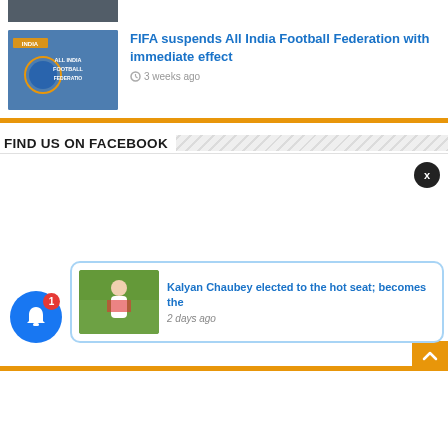[Figure (photo): Partial sports photo cropped at top]
[Figure (photo): All India Football Federation logo with blue background]
FIFA suspends All India Football Federation with immediate effect
3 weeks ago
FIND US ON FACEBOOK
[Figure (screenshot): Facebook embed area, empty white space]
[Figure (photo): Kalyan Chaubey standing on football ground with scarf]
Kalyan Chaubey elected to the hot seat; becomes the
2 days ago